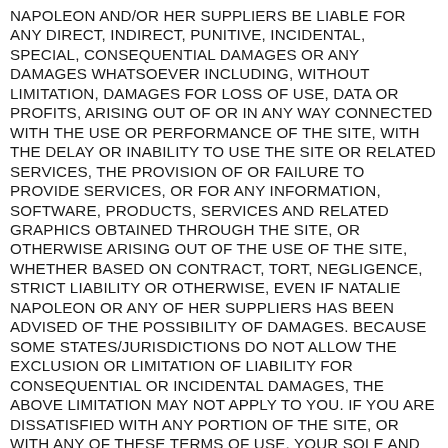NAPOLEON AND/OR HER SUPPLIERS BE LIABLE FOR ANY DIRECT, INDIRECT, PUNITIVE, INCIDENTAL, SPECIAL, CONSEQUENTIAL DAMAGES OR ANY DAMAGES WHATSOEVER INCLUDING, WITHOUT LIMITATION, DAMAGES FOR LOSS OF USE, DATA OR PROFITS, ARISING OUT OF OR IN ANY WAY CONNECTED WITH THE USE OR PERFORMANCE OF THE SITE, WITH THE DELAY OR INABILITY TO USE THE SITE OR RELATED SERVICES, THE PROVISION OF OR FAILURE TO PROVIDE SERVICES, OR FOR ANY INFORMATION, SOFTWARE, PRODUCTS, SERVICES AND RELATED GRAPHICS OBTAINED THROUGH THE SITE, OR OTHERWISE ARISING OUT OF THE USE OF THE SITE, WHETHER BASED ON CONTRACT, TORT, NEGLIGENCE, STRICT LIABILITY OR OTHERWISE, EVEN IF NATALIE NAPOLEON OR ANY OF HER SUPPLIERS HAS BEEN ADVISED OF THE POSSIBILITY OF DAMAGES. BECAUSE SOME STATES/JURISDICTIONS DO NOT ALLOW THE EXCLUSION OR LIMITATION OF LIABILITY FOR CONSEQUENTIAL OR INCIDENTAL DAMAGES, THE ABOVE LIMITATION MAY NOT APPLY TO YOU. IF YOU ARE DISSATISFIED WITH ANY PORTION OF THE SITE, OR WITH ANY OF THESE TERMS OF USE, YOUR SOLE AND EXCLUSIVE